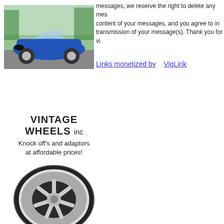[Figure (photo): Blue vintage sports car (Cobra replica) parked outdoors, top-left area]
messages, we reserve the right to delete any mes content of your messages, and you agree to in transmission of your message(s). Thank you for vi
Links monetized by    VigLink
[Figure (logo): Vintage Wheels Inc advertisement with chrome wheel image. Text: VINTAGE WHEELS inc, Knock off's and adaptors at affordable prices!]
[Figure (logo): MMG Motorsports logo with red car outline silhouette and Superformance badge]
[Figure (photo): Blue vintage sports car (Cobra replica) partially visible at bottom]